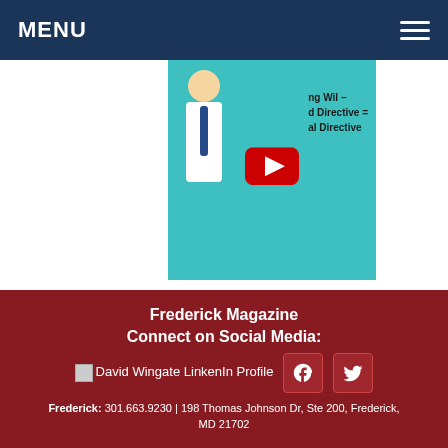MENU
[Figure (screenshot): YouTube video thumbnail showing an animated character on teal background with a YouTube play button, and text partly visible: 'Directive' and 'al Directive']
[Figure (screenshot): YouTube video player with black background, showing channel avatar and title 'Help! My loved one n...' with three-dot menu]
Frederick Magazine
Connect on Social Media:
David Wingate LinkenIn Profile
Frederick: 301.663.9230 | 198 Thomas Johnson Dr, Ste 200, Frederick, MD 21702